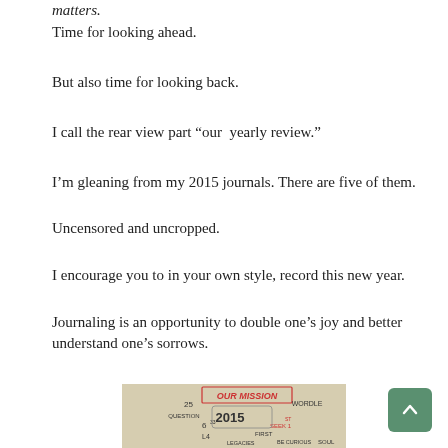matters.
Time for looking ahead.
But also time for looking back.
I call the rear view part “our  yearly review.”
I’m gleaning from my 2015 journals. There are five of them.
Uncensored and uncropped.
I encourage you to in your own style, record this new year.
Journaling is an opportunity to double one’s joy and better understand one’s sorrows.
[Figure (photo): Handwritten journal page or mind-map showing 'OUR MISSION' title with '2015' in center, various handwritten notes including 'WORDLE', 'QUESTION', 'SEEK 1ST', 'FIRST', 'LEGACIES', 'BE CURIOUS', 'SOUL', colored in red and black on beige paper.]